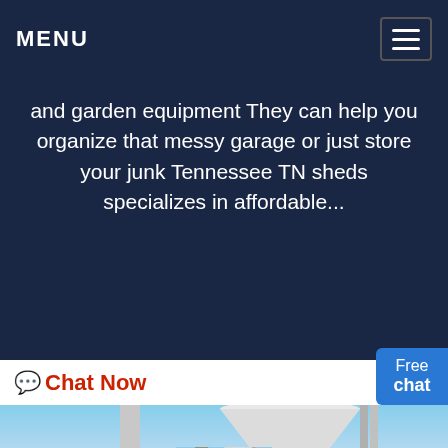MENU
and garden equipment They can help you organize that messy garage or just store your junk Tennessee TN sheds specializes in affordable...
Chat Now
[Figure (photo): Industrial grinding mill / pulverizer machine with cyclone separator, pipes, and metal structure, photographed outdoors against a blue sky.]